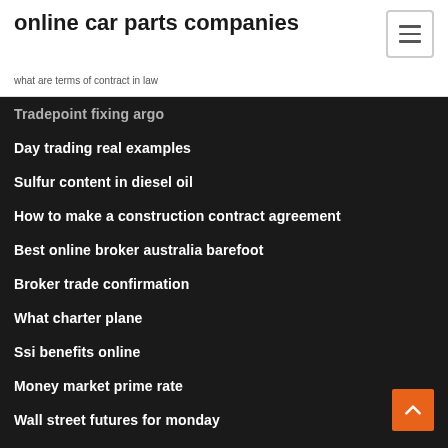online car parts companies
what are terms of contract in law
Tradepoint fixing argo
Day trading real examples
Sulfur content in diesel oil
How to make a construction contract agreement
Best online broker australia barefoot
Broker trade confirmation
What charter plane
Ssi benefits online
Money market prime rate
Wall street futures for monday